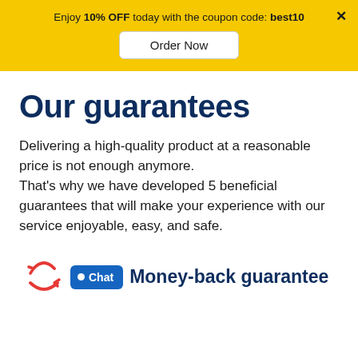Enjoy 10% OFF today with the coupon code: best10
Order Now
Our guarantees
Delivering a high-quality product at a reasonable price is not enough anymore.
That’s why we have developed 5 beneficial guarantees that will make your experience with our service enjoyable, easy, and safe.
Money-back guarantee